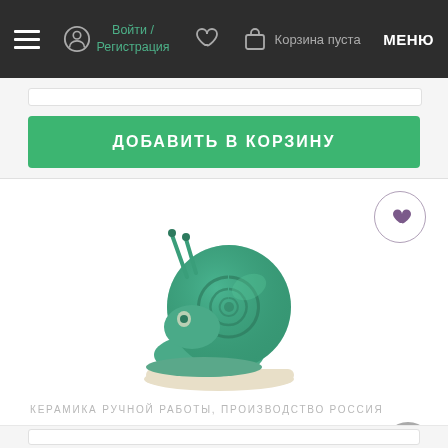Войти / Регистрация  Корзина пуста  МЕНЮ
ДОБАВИТЬ В КОРЗИНУ
[Figure (photo): Ceramic snail figurine, teal/turquoise glazed handmade pottery with spiral shell, sitting on a beige base]
КЕРАМИКА РУЧНОЙ РАБОТЫ, ПРОИЗВОДСТВО РОССИЯ
Фигурка # 39222, керамика
1300.0 ₽